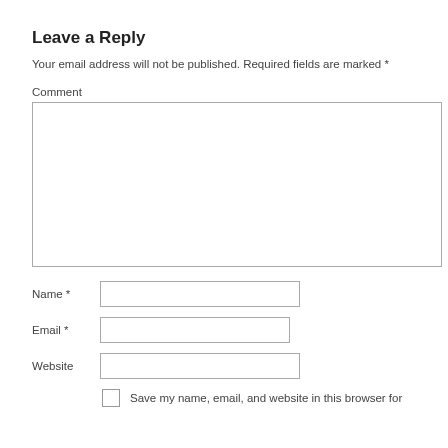Leave a Reply
Your email address will not be published. Required fields are marked *
Comment
[Figure (screenshot): A web comment form with a large textarea for Comment, input fields for Name *, Email *, and Website, and a checkbox with label 'Save my name, email, and website in this browser for']